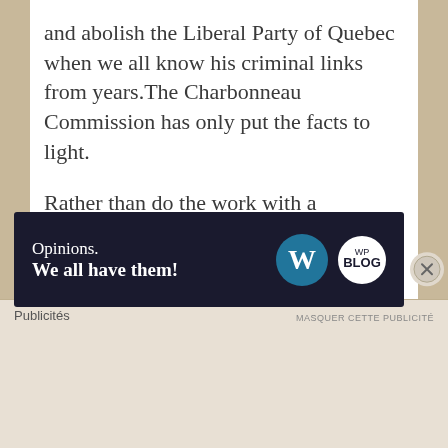and abolish the Liberal Party of Quebec when we all know his criminal links from years.The Charbonneau Commission has only put the facts to light.
Rather than do the work with a minimum of courage, our ears are folded with the sovereignist Parti Québécois credo that everyone is questioning its application given the corrupt environment in which it bathes.
A CALL TO THE UPRISING PACIFIC CITIZENS OF QUEBEC
Publicités
[Figure (screenshot): Advertisement banner with dark navy background. Left side shows text 'Opinions. We all have them!' in white. Right side shows WordPress circular logo and another circular logo (WN/blog). Close button (X) at top right of ad area.]